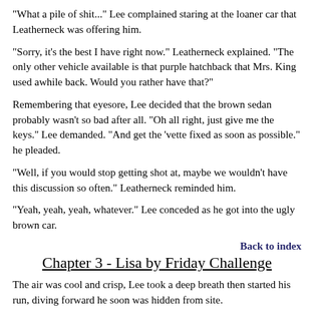"What a pile of shit..." Lee complained staring at the loaner car that Leatherneck was offering him.
"Sorry, it's the best I have right now." Leatherneck explained. "The only other vehicle available is that purple hatchback that Mrs. King used awhile back. Would you rather have that?"
Remembering that eyesore, Lee decided that the brown sedan probably wasn't so bad after all. "Oh all right, just give me the keys." Lee demanded. "And get the 'vette fixed as soon as possible." he pleaded.
"Well, if you would stop getting shot at, maybe we wouldn't have this discussion so often." Leatherneck reminded him.
"Yeah, yeah, yeah, whatever." Lee conceded as he got into the ugly brown car.
Back to index
Chapter 3 - Lisa by Friday Challenge
The air was cool and crisp, Lee took a deep breath then started his run, diving forward he soon was hidden from site.